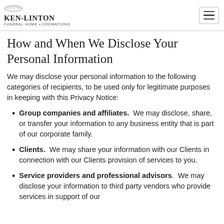KEN-LINTON Funeral Home · Cremations
How and When We Disclose Your Personal Information
We may disclose your personal information to the following categories of recipients, to be used only for legitimate purposes in keeping with this Privacy Notice:
Group companies and affiliates.  We may disclose, share, or transfer your information to any business entity that is part of our corporate family.
Clients.  We may share your information with our Clients in connection with our Clients provision of services to you.
Service providers and professional advisors.  We may disclose your information to third party vendors who provide services in support of our